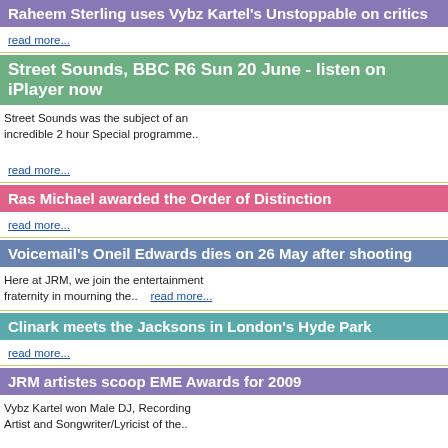Raheem Sterling uses Vybz Kartel's Unstoppable on critics
read more...
Street Sounds, BBC R6  Sun 20 June - listen on iPlayer now
Street Sounds was the subject of an incredible 2 hour Special programme..
read more...
Ras Michael awarded the Order of Distinction
read more...
Voicemail's Oneil Edwards dies on 26 May after shooting
Here at JRM, we join the entertainment fraternity in mourning  the..    read more...
Clinark meets the Jacksons in London's Hyde Park
read more...
JRM artistes scoop EME Awards for 2009
Vybz Kartel won Male DJ, Recording Artist and Songwriter/Lyricist of the..
read more...